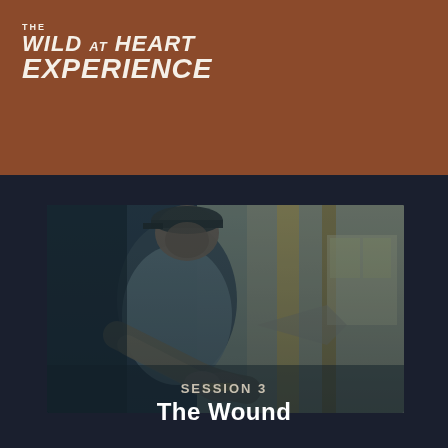THE WILD AT HEART EXPERIENCE
[Figure (photo): A man wearing a dark cap and gray shirt working with his hands in what appears to be a workshop or construction setting, cinematic dark teal toned photograph.]
SESSION 3
The Wound